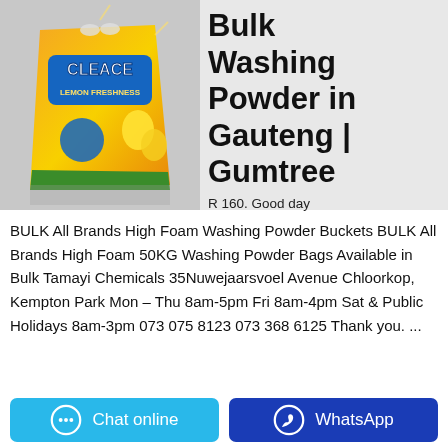[Figure (photo): A yellow bag of Cleace Lemon Freshness washing powder on a grey background]
Bulk Washing Powder in Gauteng | Gumtree
R 160. Good day
BULK All Brands High Foam Washing Powder Buckets BULK All Brands High Foam 50KG Washing Powder Bags Available in Bulk Tamayi Chemicals 35Nuwejaarsvoel Avenue Chloorkop, Kempton Park Mon – Thu 8am-5pm Fri 8am-4pm Sat & Public Holidays 8am-3pm 073 075 8123 073 368 6125 Thank you. ...
Chat online
WhatsApp